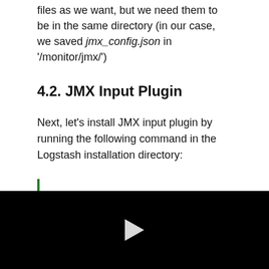files as we want, but we need them to be in the same directory (in our case, we saved jmx_config.json in '/monitor/jmx/')
4.2. JMX Input Plugin
Next, let's install JMX input plugin by running the following command in the Logstash installation directory:
[Figure (screenshot): Black video player block with a white play button triangle in the center]